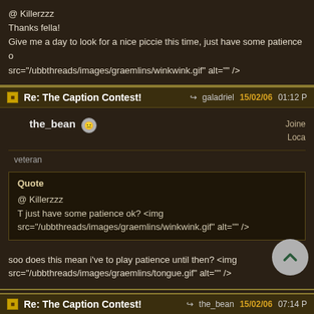@ Killerzzz
Thanks fella!
Give me a day to look for a nice piccie this time, just have some patience src="/ubbthreads/images/graemlins/winkwink.gif" alt="" />
Re: The Caption Contest!  galadriel  15/02/06  01:12 P
the_bean  [icon]  Joined  Loca  veteran
Quote
@ Killerzzz
T just have some patience ok? <img src="/ubbthreads/images/graemlins/winkwink.gif" alt="" />
soo does this mean i've to play patience until then? <img src="/ubbthreads/images/graemlins/tongue.gif" alt="" />
Re: The Caption Contest!  the_bean  15/02/06  07:14 P